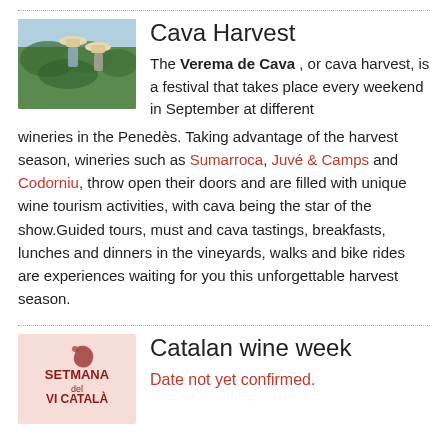[Figure (photo): Two people wearing straw hats harvesting grapes in a vineyard]
Cava Harvest
The Verema de Cava , or cava harvest, is a festival that takes place every weekend in September at different wineries in the Penedès. Taking advantage of the harvest season, wineries such as Sumarroca, Juvé & Camps and Codorniu, throw open their doors and are filled with unique wine tourism activities, with cava being the star of the show.Guided tours, must and cava tastings, breakfasts, lunches and dinners in the vineyards, walks and bike rides are experiences waiting for you this unforgettable harvest season.
[Figure (logo): Setmana del Vi Català logo on pink background]
Catalan wine week
Date not yet confirmed.